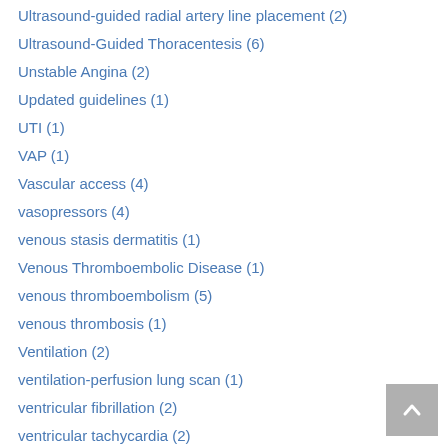Ultrasound-guided radial artery line placement (2)
Ultrasound-Guided Thoracentesis (6)
Unstable Angina (2)
Updated guidelines (1)
UTI (1)
VAP (1)
Vascular access (4)
vasopressors (4)
venous stasis dermatitis (1)
Venous Thromboembolic Disease (1)
venous thromboembolism (5)
venous thrombosis (1)
Ventilation (2)
ventilation-perfusion lung scan (1)
ventricular fibrillation (2)
ventricular tachycardia (2)